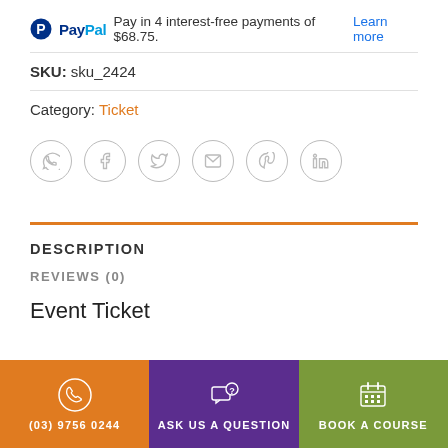PayPal Pay in 4 interest-free payments of $68.75. Learn more
SKU: sku_2424
Category: Ticket
[Figure (infographic): Row of 6 social sharing icon buttons in circles: WhatsApp, Facebook, Twitter, Email, Pinterest, LinkedIn]
DESCRIPTION
REVIEWS (0)
Event Ticket
(03) 9756 0244
ASK US A QUESTION
BOOK A COURSE